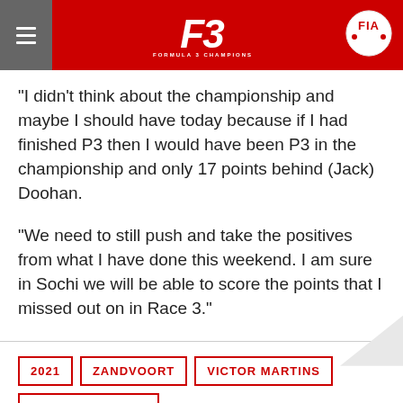FIA Formula 3 Championship
“I didn’t think about the championship and maybe I should have today because if I had finished P3 then I would have been P3 in the championship and only 17 points behind (Jack) Doohan.

“We need to still push and take the positives from what I have done this weekend. I am sure in Sochi we will be able to score the points that I missed out on in Race 3.”
2021
ZANDVOORT
VICTOR MARTINS
MP MOTORSPORT